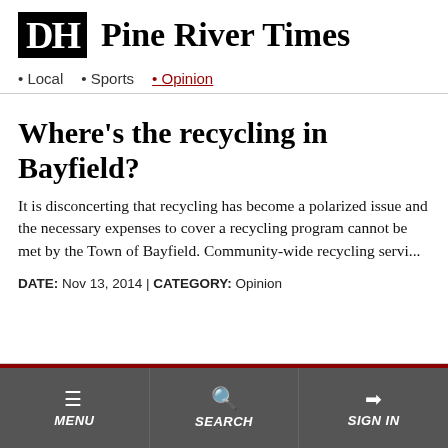DH Pine River Times
• Local  • Sports  • Opinion
Where's the recycling in Bayfield?
It is disconcerting that recycling has become a polarized issue and the necessary expenses to cover a recycling program cannot be met by the Town of Bayfield. Community-wide recycling servi...
DATE: Nov 13, 2014 | CATEGORY: Opinion
MENU  SEARCH  SIGN IN